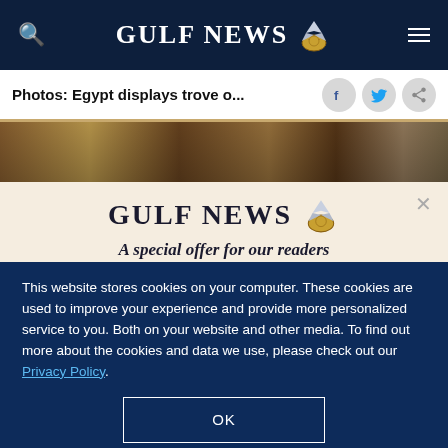GULF NEWS
Photos: Egypt displays trove o...
[Figure (photo): Partial photo of Egyptian artifacts or antiquities display]
A special offer for our readers
Get the two years All-Access subscription now
This website stores cookies on your computer. These cookies are used to improve your experience and provide more personalized service to you. Both on your website and other media. To find out more about the cookies and data we use, please check out our Privacy Policy.